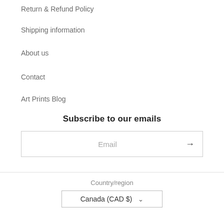Return & Refund Policy
Shipping information
About us
Contact
Art Prints Blog
Subscribe to our emails
Email
Country/region
Canada (CAD $)